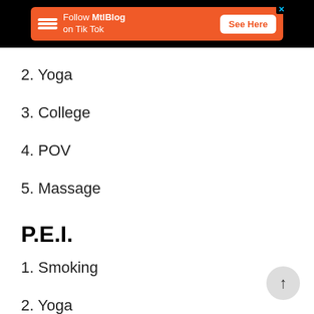[Figure (other): Orange advertisement banner for MtlBlog on TikTok with 'See Here' button on black background]
2. Yoga
3. College
4. POV
5. Massage
P.E.I.
1. Smoking
2. Yoga